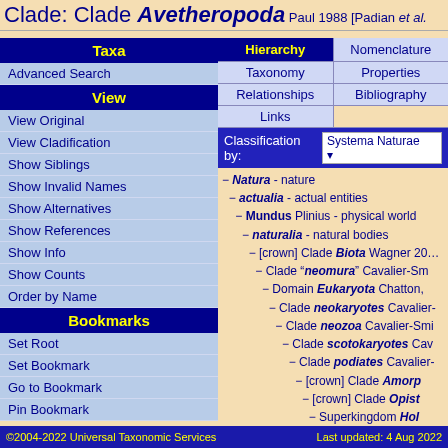Clade: Clade Avetheropoda Paul 1988 [Padian et al.
| Taxa | Hierarchy | Nomenclature |
| --- | --- | --- |
| Advanced Search | Taxonomy | Properties |
|  | Relationships | Bibliography |
|  | Links |  |
| View | Classification by: Systema Naturae |  |
| View Original |  |  |
| View Cladification |  |  |
| Show Siblings |  |  |
| Show Invalid Names |  |  |
| Show Alternatives |  |  |
| Show References |  |  |
| Show Info |  |  |
| Show Counts |  |  |
| Order by Name |  |  |
| Bookmarks |  |  |
| Set Root |  |  |
| Set Bookmark |  |  |
| Go to Bookmark |  |  |
| Pin Bookmark |  |  |
− Natura - nature
− actualia - actual entities
− Mundus Plinius - physical world
− naturalia - natural bodies
− [crown] Clade Biota Wagner 20...
− Clade "neomura" Cavalier-Sm...
− Domain Eukaryota Chatton,...
− Clade neokaryotes Cavalier-...
− Clade neozoa Cavalier-Smi...
− Clade scotokaryotes Cav...
− Clade podiates Cavalier-...
− [crown] Clade Amorp...
− [crown] Clade Opist...
− Superkingdom Hol...
©2004-2022 Universal Taxonomic Services    Last updated: 4 Aug 2022